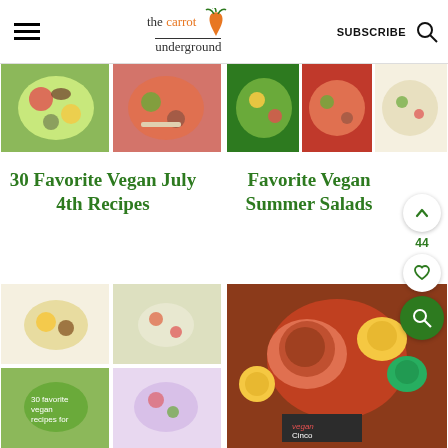the carrot underground | SUBSCRIBE
[Figure (photo): Collage of colorful vegan salad dishes - top left article image]
[Figure (photo): Collage of colorful vegan summer salad dishes - top right article image]
30 Favorite Vegan July 4th Recipes
Favorite Vegan Summer Salads
[Figure (photo): Collage of vegan breakfast/brunch recipes including waffles and pancakes - bottom left]
[Figure (photo): Vegan Cinco de Mayo dishes with rice, salsa and chips - bottom right]